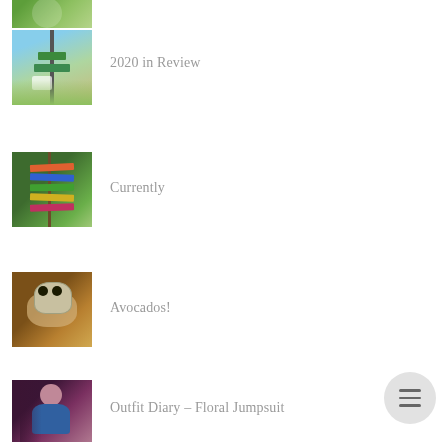[Figure (photo): Partial photo of person with bicycle or outdoor scene, cropped at top]
[Figure (photo): Photo of street signs on a pole with suburban houses in background]
2020 in Review
[Figure (photo): Photo of colorful directional signs on a post in a garden/wooded area]
Currently
[Figure (photo): Photo of hands holding a small owl-shaped ceramic or craft item]
Avocados!
[Figure (photo): Photo of a woman in floral outfit sitting against a tree]
Outfit Diary - Floral Jumpsuit